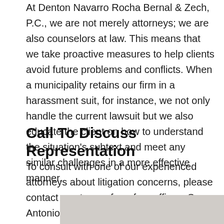At Denton Navarro Rocha Bernal & Zech, P.C., we are not merely attorneys; we are also counselors at law. This means that we take proactive measures to help clients avoid future problems and conflicts. When a municipality retains our firm in a harassment suit, for instance, we not only handle the current lawsuit but we also educate the client on how to understand the situation's subtext and meet any similar challenges in a more effective manner.
Call To Discuss Representation
To consult with one of our experienced attorneys about litigation concerns, please contact us at one of our four offices: San Antonio (210-227-3243), Rio Grande Valley (956-421-4904), Austin (512-279-6431) or Texas Gulf Coast (832-632-2102).
[Figure (photo): Partial image visible at bottom of page, appears to be a light gray/beige toned photo]